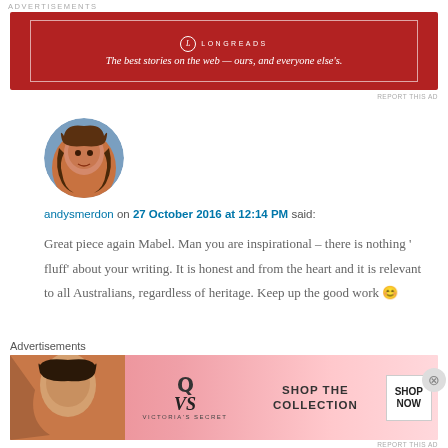ADVERTISEMENTS
[Figure (advertisement): Longreads advertisement banner with red background and white border. Logo with L in circle and LONGREADS text. Tagline: The best stories on the web — ours, and everyone else's.]
[Figure (photo): Circular avatar photo of a man with long hair outdoors]
andysmerdon on 27 October 2016 at 12:14 PM said:
Great piece again Mabel. Man you are inspirational – there is nothing ' fluff' about your writing. It is honest and from the heart and it is relevant to all Australians, regardless of heritage. Keep up the good work 😊
Advertisements
[Figure (advertisement): Victoria's Secret advertisement banner with pink gradient background, model photo on left, VS logo, text SHOP THE COLLECTION, and SHOP NOW button]